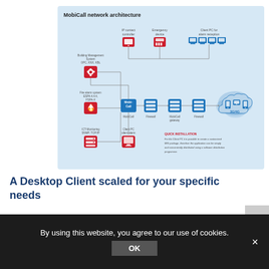[Figure (network-graph): MobiCall network architecture diagram showing: Building Management System (OPC, KNX, KBL) connected via gear icon; Fire alarm system (ESPA 4.4.4, FSPA-X) connected via fire icon; ICT-Monitoring (SNMP, TCP/IP) via server icon; Client PC silent alarm via monitor icon — all feeding into MobiCall central node, then through Firewall, MobiCall gateway, Firewall, to 3G/4G cloud. IP contact controller (tablet icon), Emergency device (phone icon), Client PC for alarm reception (multiple monitor icons) connected at top. Quick Installation note in red.]
A Desktop Client scaled for your specific needs
By using this website, you agree to our use of cookies.